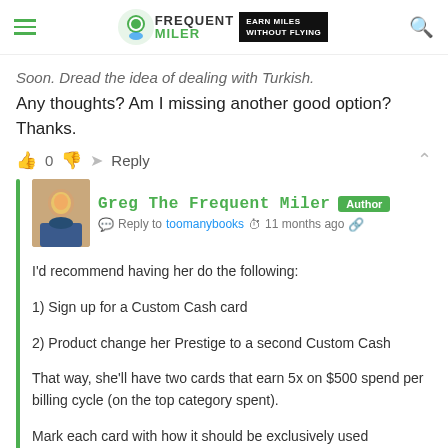Frequent Miler — Earn Miles Without Flying
Soon. Dread the idea of dealing with Turkish.
Any thoughts? Am I missing another good option? Thanks.
0  Reply
Greg The Frequent Miler  Author
Reply to toomanybooks  11 months ago
I'd recommend having her do the following:
1) Sign up for a Custom Cash card
2) Product change her Prestige to a second Custom Cash
That way, she'll have two cards that earn 5x on $500 spend per billing cycle (on the top category spent).
Mark each card with how it should be exclusively used (e.g. "Dining" or "Grocery" or "Gas")
When it comes time to redeem points, have her...